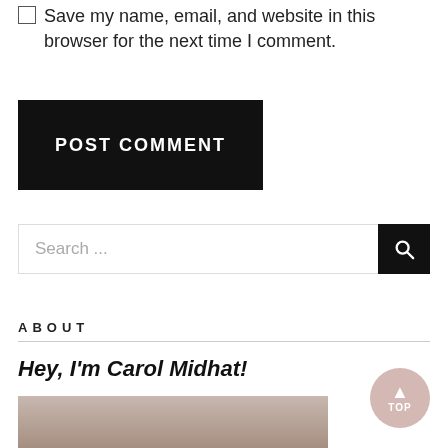Save my name, email, and website in this browser for the next time I comment.
POST COMMENT
Search ...
ABOUT
Hey, I'm Carol Midhat!
[Figure (photo): Photo of Carol Midhat, partially visible at bottom of page]
TOP